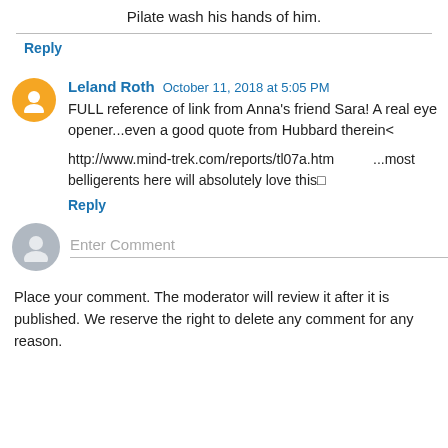Pilate wash his hands of him.
Reply
Leland Roth  October 11, 2018 at 5:05 PM
FULL reference of link from Anna's friend Sara! A real eye opener...even a good quote from Hubbard therein<
http://www.mind-trek.com/reports/tl07a.htm         ...most belligerents here will absolutely love this□
Reply
Enter Comment
Place your comment. The moderator will review it after it is published. We reserve the right to delete any comment for any reason.